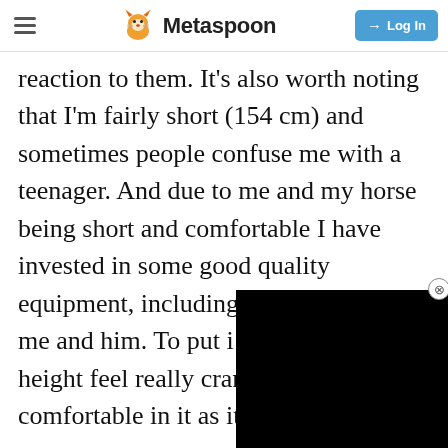Metaspoon
reaction to them. It's also worth noting that I'm fairly short (154 cm) and sometimes people confuse me with a teenager. And due to me and my horse being short and comfortable I have invested in some good quality equipment, including a saddle that fits me and him. To put i over a certain height feel really cramped and not comfortable in it as it will feel very